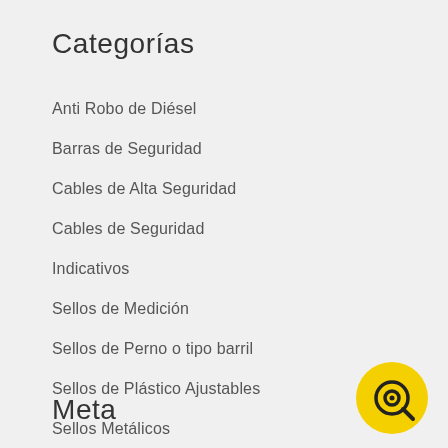Categorías
Anti Robo de Diésel
Barras de Seguridad
Cables de Alta Seguridad
Cables de Seguridad
Indicativos
Sellos de Medición
Sellos de Perno o tipo barril
Sellos de Plástico Ajustables
Sellos Metálicos
Uncategorized
Meta
[Figure (logo): Yellow circle with a targeting/scope icon inside]